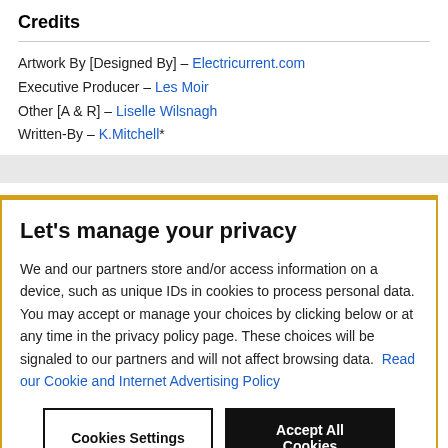Credits
Artwork By [Designed By] – Electricurrent.com
Executive Producer – Les Moir
Other [A & R] – Liselle Wilsnagh
Written-By – K.Mitchell*
Let's manage your privacy
We and our partners store and/or access information on a device, such as unique IDs in cookies to process personal data. You may accept or manage your choices by clicking below or at any time in the privacy policy page. These choices will be signaled to our partners and will not affect browsing data. Read our Cookie and Internet Advertising Policy